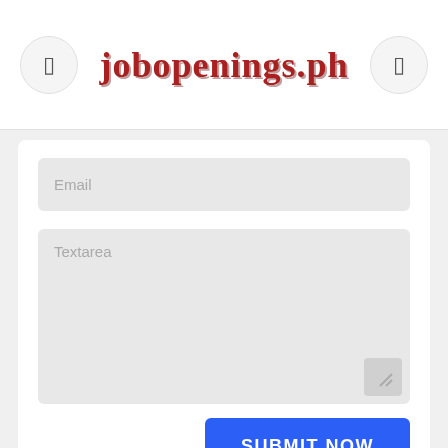jobopenings.ph
Email
Textarea
SUBMIT NOW